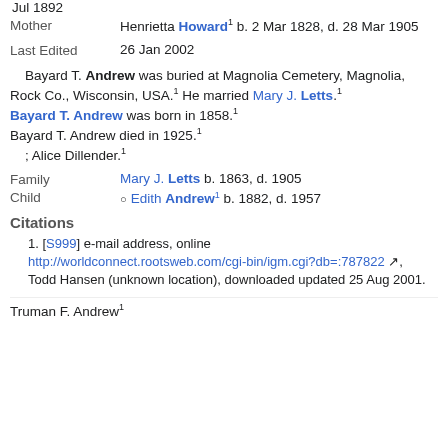Jul 1892
Mother  Henrietta Howard1 b. 2 Mar 1828, d. 28 Mar 1905
Last Edited  26 Jan 2002
Bayard T. Andrew was buried at Magnolia Cemetery, Magnolia, Rock Co., Wisconsin, USA.1 He married Mary J. Letts.1
Bayard T. Andrew was born in 1858.1
Bayard T. Andrew died in 1925.1
; Alice Dillender.1
Family  Mary J. Letts b. 1863, d. 1905
Child  Edith Andrew1 b. 1882, d. 1957
Citations
1. [S999] e-mail address, online http://worldconnect.rootsweb.com/cgi-bin/igm.cgi?db=:787822, Todd Hansen (unknown location), downloaded updated 25 Aug 2001.
Truman F. Andrew1